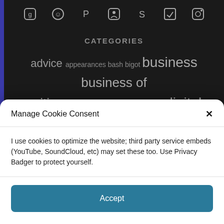[Figure (screenshot): Row of social media / platform icons at the top of a dark website]
CATEGORIES
advice appearances bash bigot business business of writing conventions craft of writing digital publishing discrimination diversity ebooks economics essay feminism
Manage Cookie Consent
I use cookies to optimize the website; third party service embeds (YouTube, SoundCloud, etc) may set these too. Use Privacy Badger to protect yourself.
Accept